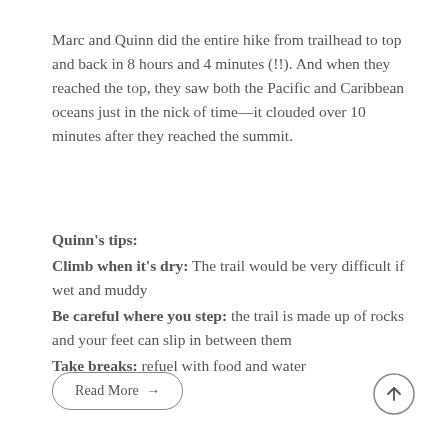Marc and Quinn did the entire hike from trailhead to top and back in 8 hours and 4 minutes (!!). And when they reached the top, they saw both the Pacific and Caribbean oceans just in the nick of time—it clouded over 10 minutes after they reached the summit.
Quinn's tips: Climb when it's dry: The trail would be very difficult if wet and muddy. Be careful where you step: the trail is made up of rocks and your feet can slip in between them. Take breaks: refuel with food and water
Read More →